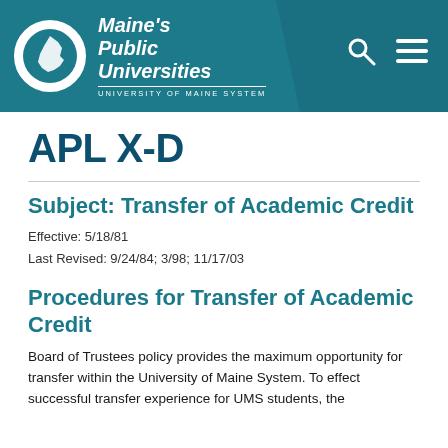Maine's Public Universities — University of Maine System
APL X-D
Subject: Transfer of Academic Credit
Effective: 5/18/81
Last Revised: 9/24/84; 3/98; 11/17/03
Procedures for Transfer of Academic Credit
Board of Trustees policy provides the maximum opportunity for transfer within the University of Maine System. To effect successful transfer experience for UMS students, the